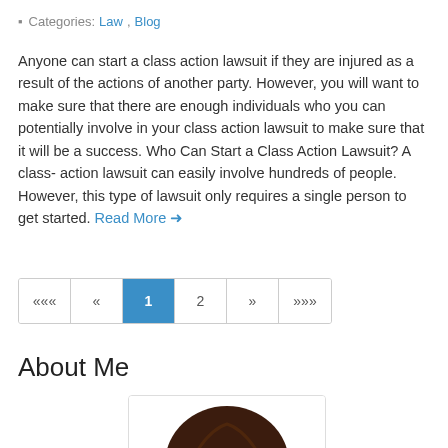Categories: Law, Blog
Anyone can start a class action lawsuit if they are injured as a result of the actions of another party. However, you will want to make sure that there are enough individuals who you can potentially involve in your class action lawsuit to make sure that it will be a success. Who Can Start a Class Action Lawsuit? A class-action lawsuit can easily involve hundreds of people. However, this type of lawsuit only requires a single person to get started. Read More →
[Figure (infographic): Pagination control with buttons: «« « 1 (active/highlighted) 2 » »»»]
About Me
[Figure (illustration): Cartoon avatar showing the top of a person's head with dark brown hair]